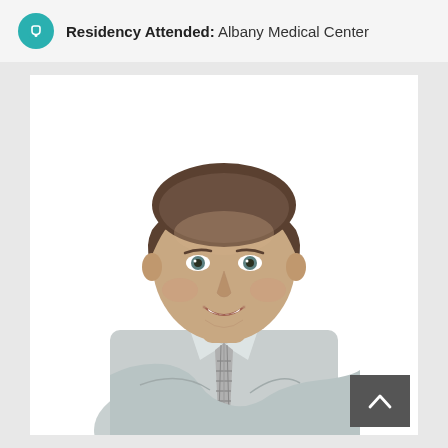Residency Attended: Albany Medical Center
[Figure (photo): Professional headshot of a male doctor/physician wearing a light gray dress shirt and plaid tie, arms crossed, smiling, against a white background.]